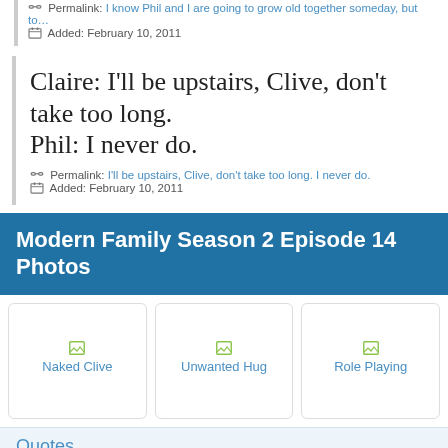Permalink: I know Phil and I are going to grow old together someday, but to…
Added: February 10, 2011
Claire: I'll be upstairs, Clive, don't take too long.
Phil: I never do.
Permalink: I'll be upstairs, Clive, don't take too long. I never do.
Added: February 10, 2011
Modern Family Season 2 Episode 14 Photos
[Figure (photo): Naked Clive photo thumbnail]
[Figure (photo): Unwanted Hug photo thumbnail]
[Figure (photo): Role Playing photo thumbnail]
Quotes